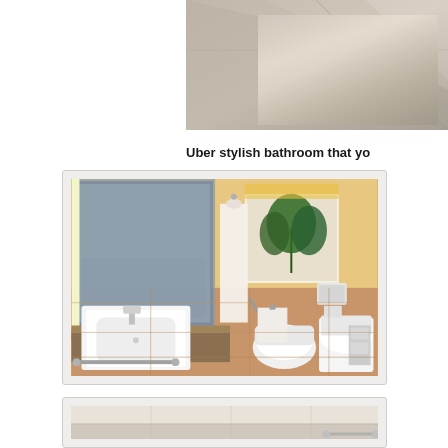[Figure (photo): Partial view of a bedroom or corner of a room with neutral beige/grey tones, partially cropped at top of page]
Uber stylish bathroom that yo
[Figure (photo): Modern hotel-style bathroom with warm beige tiles, large wall mirror with backlit lighting, white bathrobe hanging on hook, framed plant artwork on wall, white square sink with chrome tap, bidet, wall-hung toilet, and chrome accessories]
[Figure (photo): Partial view of a bathroom showing beige/cream tiles on wall and floor, with a chrome towel rail visible at lower right, cropped at bottom of page]